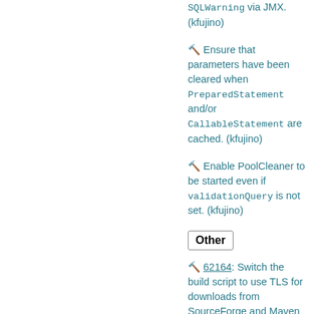🔨 Ensure that parameters have been cleared when PreparedStatement and/or CallableStatement are cached. (kfujino)
🔨 Enable PoolCleaner to be started even if validationQuery is not set. (kfujino)
Other
🔨 62164: Switch the build script to use TLS for downloads from SourceForge and Maven Central to avoid failures due to HTTP to HTTPS